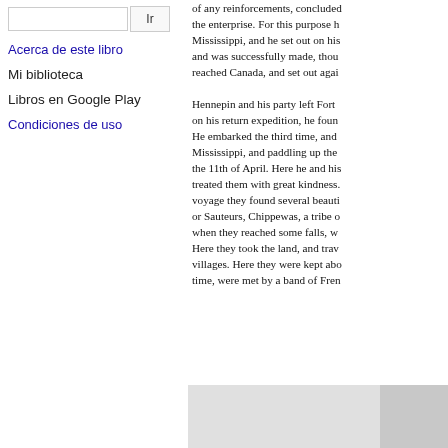Ir
Acerca de este libro
Mi biblioteca
Libros en Google Play
Condiciones de uso
of any reinforcements, concluded the enterprise. For this purpose he Mississippi, and he set out on his and was successfully made, thou reached Canada, and set out agai Hennepin and his party left Fort on his return expedition, he foun He embarked the third time, and Mississippi, and paddling up the the 11th of April. Here he and his treated them with great kindness. voyage they found several beauti or Sauteurs, Chippewas, a tribe o when they reached some falls, w Here they took the land, and trav villages. Here they were kept abo time, were met by a band of Fren